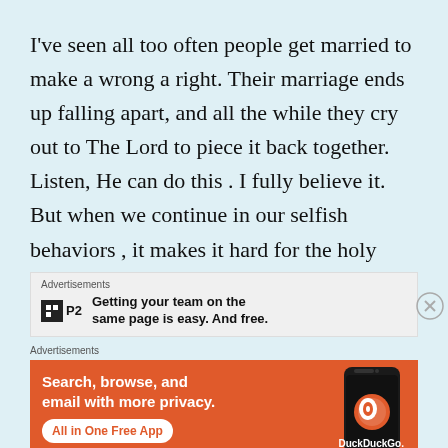I've seen all too often people get married to make a wrong a right. Their marriage ends up falling apart, and all the while they cry out to The Lord to piece it back together. Listen, He can do this . I fully believe it. But when we continue in our selfish behaviors , it makes it hard for the holy spirit to be our helper.
[Figure (infographic): P2 advertisement: logo with 'P2' text and tagline 'Getting your team on the same page is easy. And free.' with a close button]
[Figure (infographic): DuckDuckGo advertisement with orange background: 'Search, browse, and email with more privacy. All in One Free App' with phone graphic and DuckDuckGo branding]